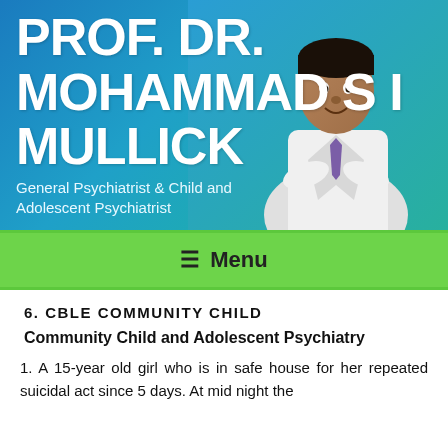[Figure (photo): Header banner with gradient blue-to-teal background and doctor in white coat with arms crossed]
PROF. DR. MOHAMMAD S I MULLICK
General Psychiatrist & Child and Adolescent Psychiatrist
≡  Menu
6. CBLE COMMUNITY CHILD
Community Child and Adolescent Psychiatry
1. A 15-year old girl who is in safe house for her repeated suicidal act since 5 days. At mid night the